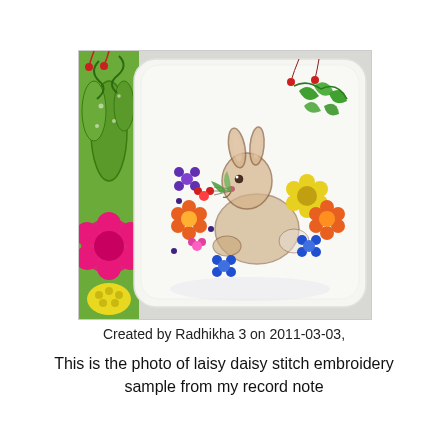[Figure (photo): Photo of a decorative ceramic plate with embroidered-style painting of a rabbit surrounded by colorful daisy flowers and green foliage. On the left edge of the image is a partial view of another decorative item with green cactus-like shapes, a bright pink flower, and a yellow element.]
Created by Radhikha 3 on 2011-03-03,
This is the photo of laisy daisy stitch embroidery sample from my record note